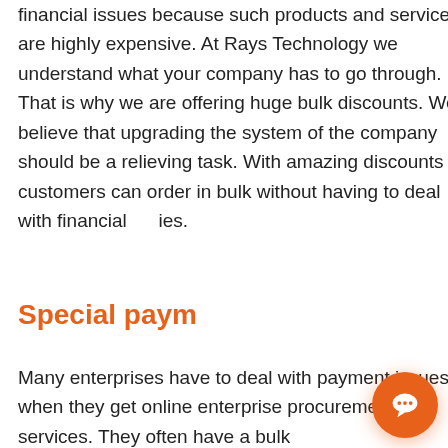procurement systems they have to deal with financial issues because such products and services are highly expensive. At Rays Technology we understand what your company has to go through. That is why we are offering huge bulk discounts. We believe that upgrading the system of the company should be a relieving task. With amazing discounts customers can order in bulk without having to deal with financial issues.
Special paym…
Many enterprises have to deal with payment issues when they get online enterprise procurement services. They often have a bulk…
[Figure (other): Chat popup overlay with Rays Technology logo, close (X) button, and text 'Got any questions? I'm happy to help.' and an orange chat bubble button in the bottom-right corner.]